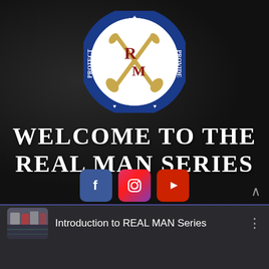[Figure (logo): Real Man Series circular logo with crossed oars, blue ring, red R and M letters, and words: CULTIVATE (top), PROTECT (left), PROVIDE (right), CREATE (bottom)]
WELCOME TO THE REAL MAN SERIES
[Figure (infographic): Three social media icon buttons: Facebook (blue), Instagram (gradient pink/purple), YouTube (red)]
[Figure (screenshot): Video row showing thumbnail of people on football field, title 'Introduction to REAL MAN Series', three-dot menu icon]
[Figure (photo): Partial video preview showing a man smiling with sports jerseys on wall behind him, jersey number 73 THOMAS visible on right]